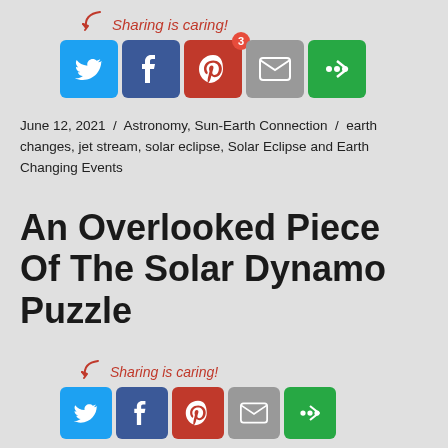[Figure (infographic): Sharing is caring! social share buttons: Twitter, Facebook, Pinterest (badge 3), Email, More (top)]
June 12, 2021 / Astronomy, Sun-Earth Connection / earth changes, jet stream, solar eclipse, Solar Eclipse and Earth Changing Events
An Overlooked Piece Of The Solar Dynamo Puzzle
[Figure (infographic): Sharing is caring! social share buttons: Twitter, Facebook, Pinterest, Email, More (bottom, partially visible)]